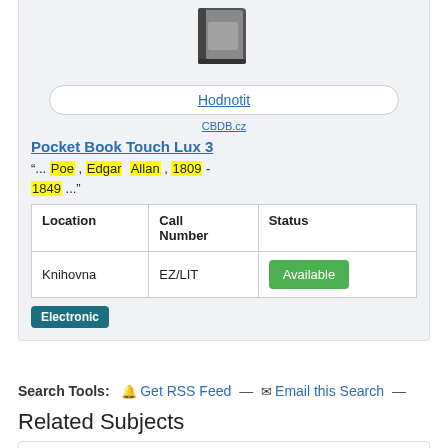[Figure (illustration): Book cover icon thumbnail (dark notebook/book)]
Hodnotit
CBDB.cz
Pocket Book Touch Lux 3
"... Poe , Edgar Allan , 1809 - 1849 ..."
| Location | Call Number | Status |
| --- | --- | --- |
| Knihovna | EZ/LIT | Available |
Electronic
Search Tools:   Get RSS Feed  —   Email this Search  —
Related Subjects
angličtina